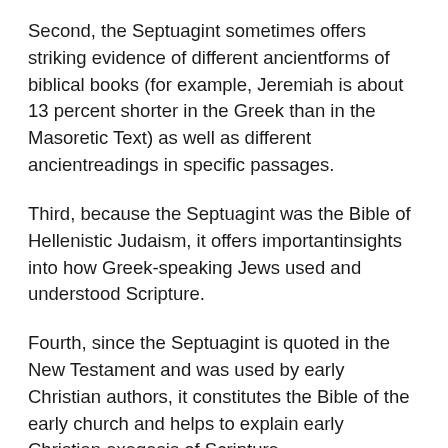Second, the Septuagint sometimes offers striking evidence of different ancientforms of biblical books (for example, Jeremiah is about 13 percent shorter in the Greek than in the Masoretic Text) as well as different ancientreadings in specific passages.
Third, because the Septuagint was the Bible of Hellenistic Judaism, it offers importantinsights into how Greek-speaking Jews used and understood Scripture.
Fourth, since the Septuagint is quoted in the New Testament and was used by early Christian authors, it constitutes the Bible of the early church and helps to explain early Christian exegesis of Scripture.
Finally, the Septuagint contains the books of the Old Testament in the fourfold arrangement that is found in modern Christian Bibles: Pentateuch, Historical Books, Poetical Books, and Prophets (though the specific order